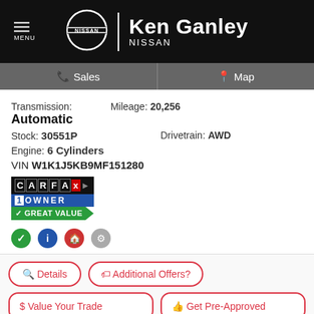MENU | NISSAN | Ken Ganley NISSAN
Sales | Map
Transmission: Automatic | Mileage: 20,256
Stock: 30551P | Drivetrain: AWD
Engine: 6 Cylinders
VIN W1K1J5KB9MF151280
[Figure (logo): CARFAX 1 OWNER GREAT VALUE badge]
[Figure (infographic): Four small icons: green checkmark, blue info circle, red house, gray wrench]
Details | Additional Offers?
$ Value Your Trade | Get Pre-Approved
Location: Ganley's Mayfield Nissan – 6060